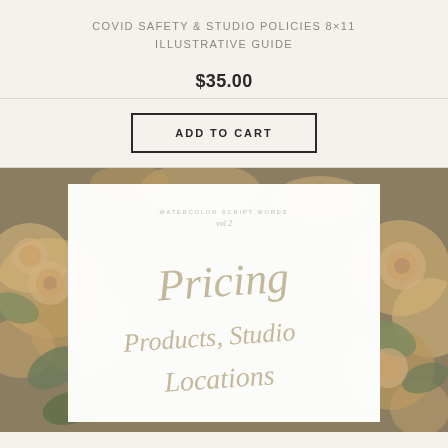COVID SAFETY & STUDIO POLICIES 8×11 ILLUSTRATIVE GUIDE
$35.00
ADD TO CART
[Figure (illustration): Product preview image showing a white card with calligraphic script words 'Pricing', 'Products, Studio', 'Locations' over a floral watercolor background with roses and green foliage.]